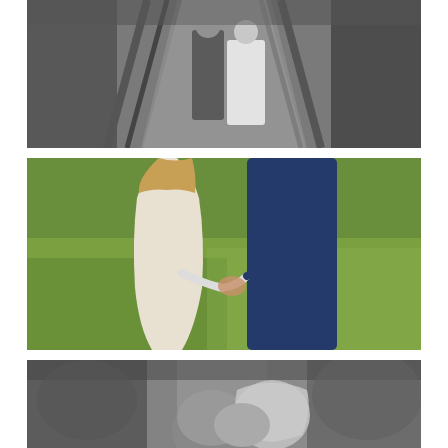[Figure (photo): Black and white photo of a bride and groom walking toward the camera on a wooden bridge surrounded by trees and foliage.]
[Figure (photo): Color photo of a bride in a white lace backless dress and groom in a navy blue suit holding hands and walking away across a green lawn.]
[Figure (photo): Black and white photo of a couple kissing or embracing closely, surrounded by blurred foliage and guests.]